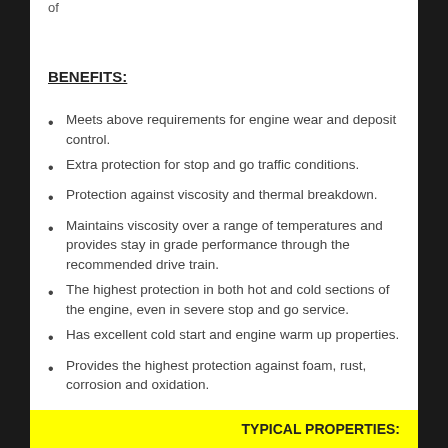of
BENEFITS:
Meets above requirements for engine wear and deposit control.
Extra protection for stop and go traffic conditions.
Protection against viscosity and thermal breakdown.
Maintains viscosity over a range of temperatures and provides stay in grade performance through the recommended drive train.
The highest protection in both hot and cold sections of the engine, even in severe stop and go service.
Has excellent cold start and engine warm up properties.
Provides the highest protection against foam, rust, corrosion and oxidation.
TYPICAL PROPERTIES: